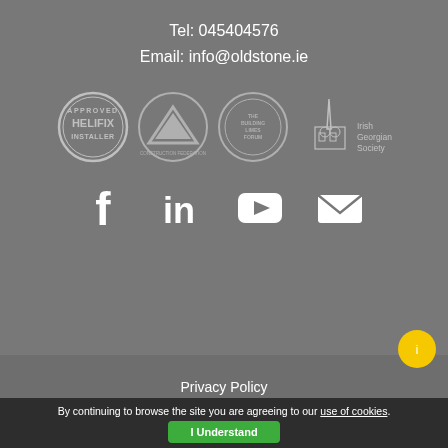Tel: 045404576
Email: info@oldstone.ie
[Figure (logo): Four logos: Helifix Approved Installer badge, Construction Federation Ireland triangle logo, The Building Limes Forum circular badge, Irish Georgian Society logo]
[Figure (infographic): Social media icons: Facebook, LinkedIn, YouTube, Email/envelope]
Privacy Policy
© 2022 Oldstone Conservation.
By continuing to browse the site you are agreeing to our use of cookies.
I Understand